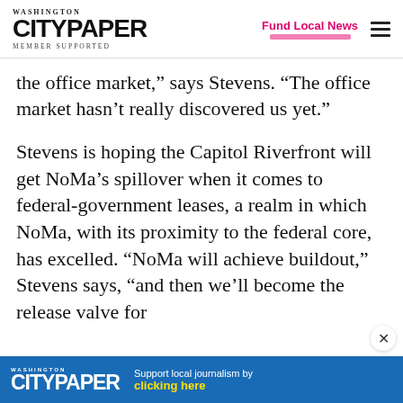WASHINGTON CITYPAPER MEMBER SUPPORTED | Fund Local News
the office market,” says Stevens. “The office market hasn’t really discovered us yet.”
Stevens is hoping the Capitol Riverfront will get NoMa’s spillover when it comes to federal-government leases, a realm in which NoMa, with its proximity to the federal core, has excelled. “NoMa will achieve buildout,” Stevens says, “and then we’ll become the release valve for
[Figure (screenshot): Washington City Paper advertisement banner at bottom of page with blue background, white logo text and yellow 'clicking here' call to action text]